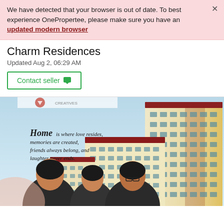We have detected that your browser is out of date. To best experience OnePropertee, please make sure you have an updated modern browser
Charm Residences
Updated Aug 2, 06:29 AM
Contact seller
[Figure (photo): Promotional image for Charm Residences showing a residential condominium building with European-style architecture. Text overlay reads: 'Home is where love resides, memories are created, friends always belong, and laughter never ends.' Three people (a family) are shown smiling in the foreground.]